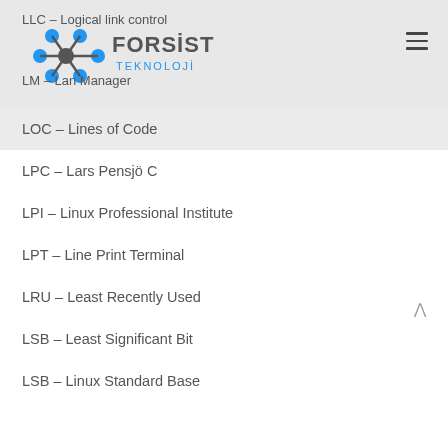LLC – Logical link control
[Figure (logo): Forsist Teknoloji logo with blue and grey hexagonal network icon and text FORSIST TEKNOLOJI]
LM – Lan Manager
LOC – Lines of Code
LPC – Lars Pensjö C
LPI – Linux Professional Institute
LPT – Line Print Terminal
LRU – Least Recently Used
LSB – Least Significant Bit
LSB – Linux Standard Base